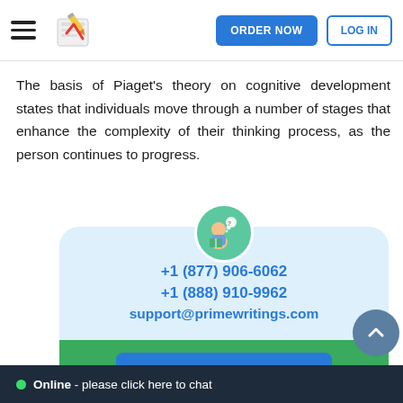ORDER NOW | LOG IN
The basis of Piaget's theory on cognitive development states that individuals move through a number of stages that enhance the complexity of their thinking process, as the person continues to progress.
[Figure (infographic): Contact card with avatar illustration, phone numbers +1 (877) 906-6062 and +1 (888) 910-9962, email support@primewritings.com, Live chat button, and Buy now button on green background]
Online - please click here to chat